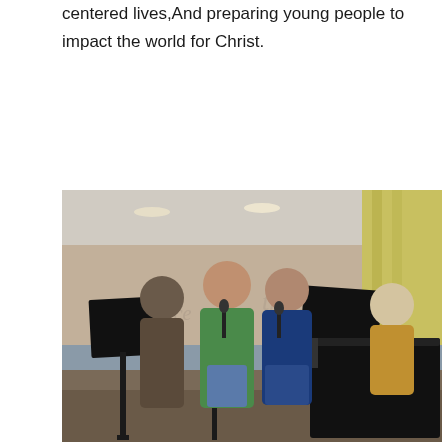centered lives,And preparing young people to impact the world for Christ.
[Figure (photo): Indoor photo of a church worship rehearsal scene. Several people stand at microphone stands singing, with music stands in front of them. A grand piano is visible on the right side. Decorative script text appears on the wall behind them. Curtains are visible in the background upper right.]